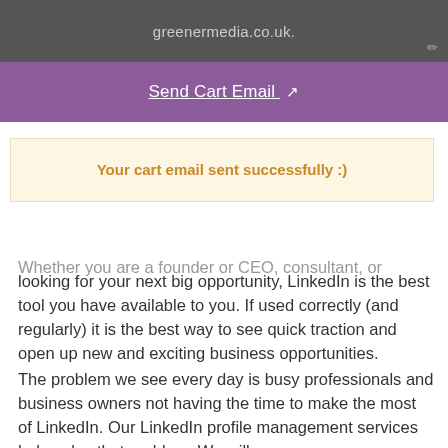[Figure (screenshot): Dark grey text input area showing 'greenermedia.co.uk.' with a small edit pencil icon in the bottom right corner]
[Figure (screenshot): Purple 'Send Cart Email' button with underlined text and an external link arrow icon]
Your cart email sent successfully :)
Whether you are a founder or CEO, consultant, or looking for your next big opportunity, LinkedIn is the best tool you have available to you. If used correctly (and regularly) it is the best way to see quick traction and open up new and exciting business opportunities.
The problem we see every day is busy professionals and business owners not having the time to make the most of LinkedIn. Our LinkedIn profile management services help solve that problem. We will manage your